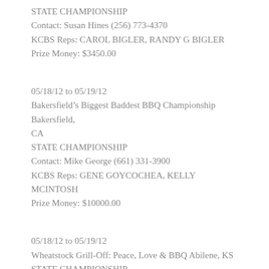STATE CHAMPIONSHIP
Contact: Susan Hines (256) 773-4370
KCBS Reps: CAROL BIGLER, RANDY G BIGLER
Prize Money: $3450.00
05/18/12 to 05/19/12
Bakersfield's Biggest Baddest BBQ Championship Bakersfield, CA
STATE CHAMPIONSHIP
Contact: Mike George (661) 331-3900
KCBS Reps: GENE GOYCOCHEA, KELLY MCINTOSH
Prize Money: $10000.00
05/18/12 to 05/19/12
Wheatstock Grill-Off: Peace, Love & BBQ Abilene, KS
STATE CHAMPIONSHIP
Contact: Barbara Schoming (785) 263-6688